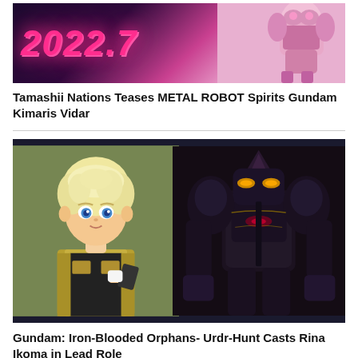[Figure (illustration): Anime promotional image showing '2022.7' text in glowing pink on dark background, with a pink mecha/Gundam on the right side]
Tamashii Nations Teases METAL ROBOT Spirits Gundam Kimaris Vidar
[Figure (illustration): Split image showing an anime character (blonde youth with blue eyes, wearing tactical vest) on the left, and a dark armored Gundam mech on the right, from Gundam: Iron-Blooded Orphans]
Gundam: Iron-Blooded Orphans- Urdr-Hunt Casts Rina Ikoma in Lead Role